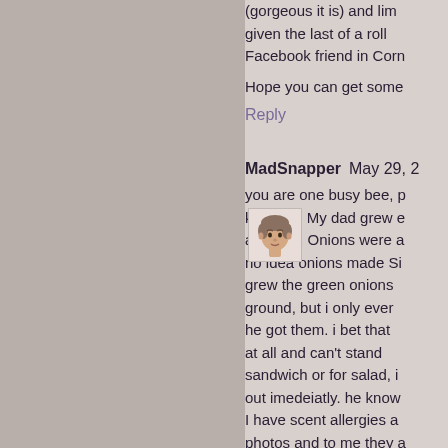(gorgeous it is) and lim given the last of a roll Facebook friend in Corn
Hope you can get some
Reply
[Figure (illustration): Avatar icon of MadSnapper commenter - cartoon face illustration]
MadSnapper May 29, 2
you are one busy bee, p keep up. My dad grew e at home. Onions were a no idea onions made Si grew the green onions ground, but i only ever he got them. i bet that at all and can't stand sandwich or for salad, i out imedeiatly. he know I have scent allergies a photos and to me they a
Reply